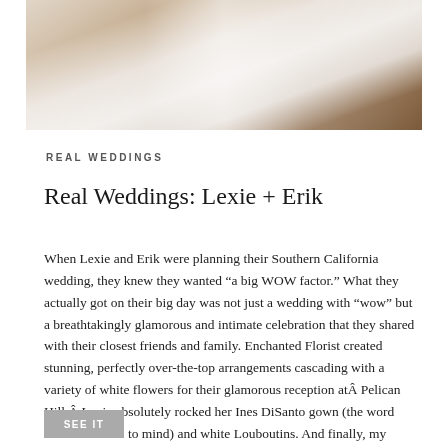[Figure (photo): Top portion of a wedding reception banquet table with white linens, chairs, and table settings, cropped at the top of the page.]
REAL WEDDINGS
Real Weddings: Lexie + Erik
When Lexie and Erik were planning their Southern California wedding, they knew they wanted “a big WOW factor.” What they actually got on their big day was not just a wedding with “wow” but a breathtakingly glamorous and intimate celebration that they shared with their closest friends and family. Enchanted Florist created stunning, perfectly over-the-top arrangements cascading with a variety of white flowers for their glamorous reception atÂ Pelican Hill.Â Lexie absolutely rocked her Ines DiSanto gown (the word “fierce” comes to mind) and white Louboutins. And finally, my laptop would certainly not be covered in drool without the incredible photos byÂ Gavin Wade Photographers!
SEE IT